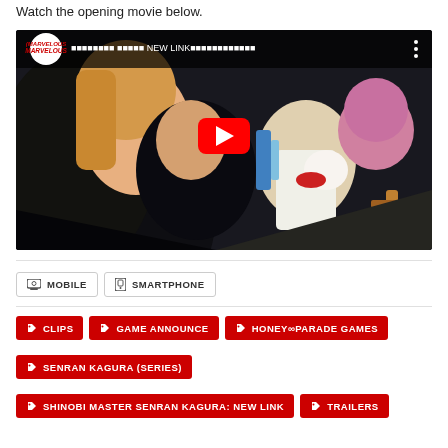Watch the opening movie below.
[Figure (screenshot): YouTube video thumbnail showing anime characters (Senran Kagura) with Marvelous logo and title text 'NEW LINK' in Japanese, with a red YouTube play button overlay]
MOBILE
SMARTPHONE
CLIPS
GAME ANNOUNCE
HONEY∞PARADE GAMES
SENRAN KAGURA (SERIES)
SHINOBI MASTER SENRAN KAGURA: NEW LINK
TRAILERS